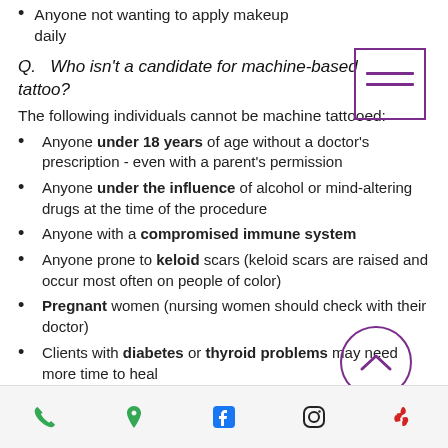Anyone not wanting to apply makeup daily
Q.   Who isn't a candidate for machine-based tattoo?
The following individuals cannot be machine tattooed:
Anyone under 18 years of age without a doctor's prescription - even with a parent's permission
Anyone under the influence of alcohol or mind-altering drugs at the time of the procedure
Anyone with a compromised immune system
Anyone prone to keloid scars (keloid scars are raised and occur most often on people of color)
Pregnant women (nursing women should check with their doctor)
Clients with diabetes or thyroid problems may need more time to heal